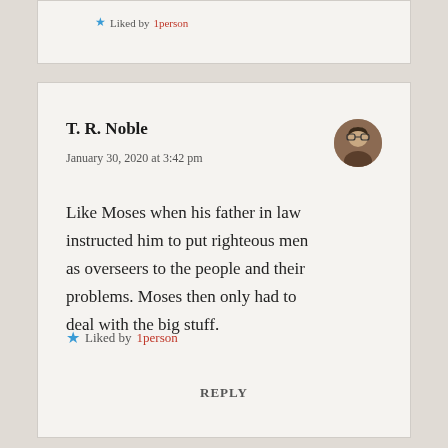★ Liked by 1person
T. R. Noble
January 30, 2020 at 3:42 pm
Like Moses when his father in law instructed him to put righteous men as overseers to the people and their problems. Moses then only had to deal with the big stuff.
★ Liked by 1person
REPLY